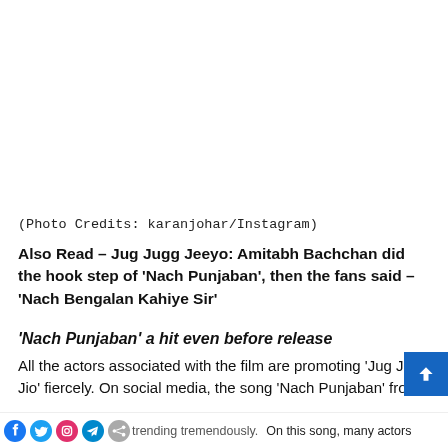[Figure (photo): Blank white photo area at top of page (image not visible)]
(Photo Credits: karanjohar/Instagram)
Also Read – Jug Jugg Jeeyo: Amitabh Bachchan did the hook step of 'Nach Punjaban', then the fans said – 'Nach Bengalan Kahiye Sir'
'Nach Punjaban' a hit even before release
All the actors associated with the film are promoting 'Jug Jugg Jio' fiercely. On social media, the song 'Nach Punjaban' from
trending tremendously. On this song, many actors